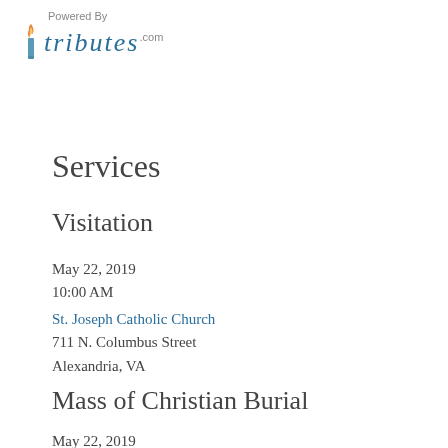Powered By tributes.com
Services
Visitation
May 22, 2019
10:00 AM
St. Joseph Catholic Church
711 N. Columbus Street
Alexandria, VA
Mass of Christian Burial
May 22, 2019
11:00 AM